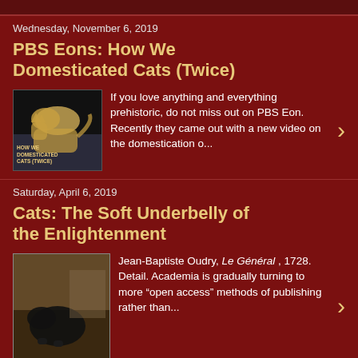Wednesday, November 6, 2019
PBS Eons: How We Domesticated Cats (Twice)
If you love anything and everything prehistoric, do not miss out on PBS Eon. Recently they came out with a new video on the domestication o...
Saturday, April 6, 2019
Cats: The Soft Underbelly of the Enlightenment
Jean-Baptiste Oudry, Le Général , 1728. Detail. Academia is gradually turning to more “open access” methods of publishing rather than...
Thursday, July 20, 2017
Cats and academia: a short